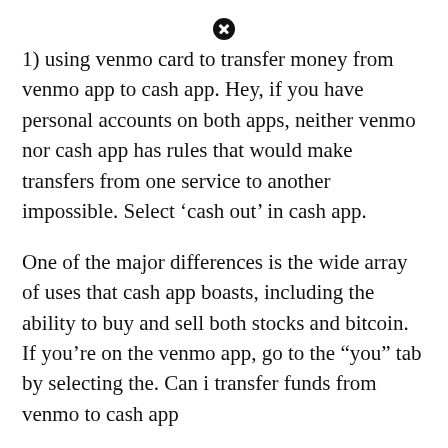1) using venmo card to transfer money from venmo app to cash app. Hey, if you have personal accounts on both apps, neither venmo nor cash app has rules that would make transfers from one service to another impossible. Select ‘cash out’ in cash app.
One of the major differences is the wide array of uses that cash app boasts, including the ability to buy and sell both stocks and bitcoin. If you’re on the venmo app, go to the “you” tab by selecting the. Can i transfer funds from venmo to cash app
Venmo and cash app are different payment applications, making people wonder if one could transfer money between these two is a widespread